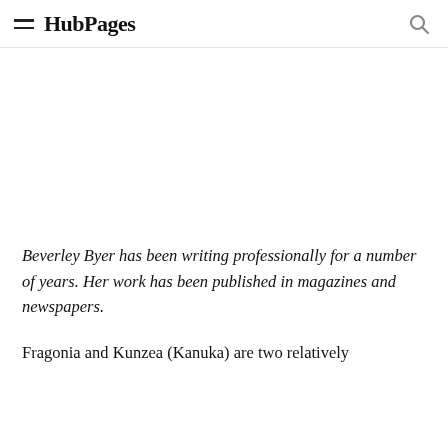HubPages
Beverley Byer has been writing professionally for a number of years. Her work has been published in magazines and newspapers.
Fragonia and Kunzea (Kanuka) are two relatively